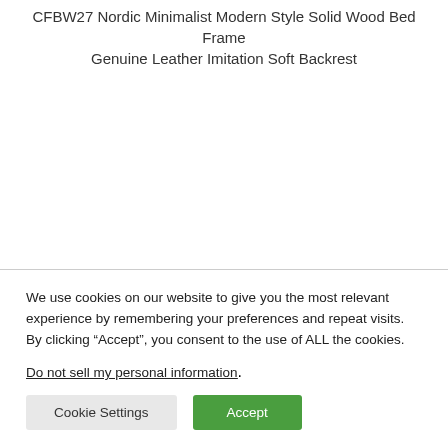CFBW27 Nordic Minimalist Modern Style Solid Wood Bed Frame Genuine Leather Imitation Soft Backrest
We use cookies on our website to give you the most relevant experience by remembering your preferences and repeat visits. By clicking “Accept”, you consent to the use of ALL the cookies.
Do not sell my personal information.